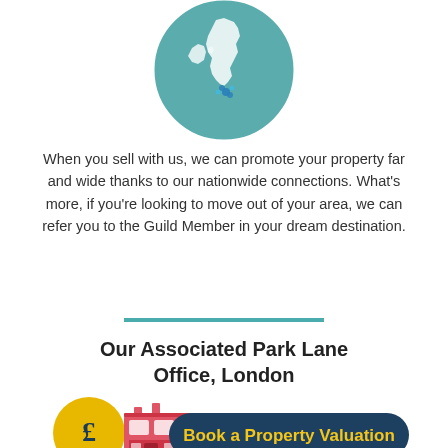[Figure (illustration): A circular illustration of a teal/green UK map with white landmass detail and blue location markers]
When you sell with us, we can promote your property far and wide thanks to our nationwide connections. What's more, if you're looking to move out of your area, we can refer you to the Guild Member in your dream destination.
[Figure (illustration): A teal horizontal divider line]
Our Associated Park Lane Office, London
[Figure (illustration): Bottom section with a gold speech bubble with pound sign, a red London bus style building, and a dark teal rounded button reading 'Book a Property Valuation']